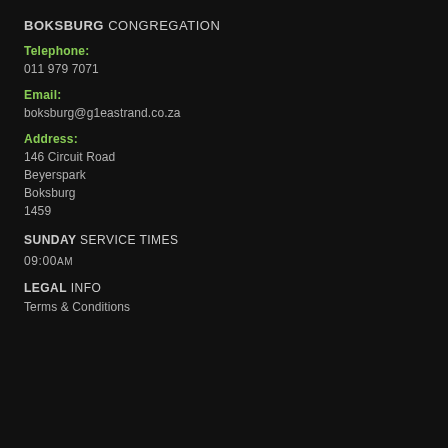BOKSBURG CONGREGATION
Telephone:
011 979 7071
Email:
boksburg@g1eastrand.co.za
Address:
146 Circuit Road
Beyerspark
Boksburg
1459
SUNDAY SERVICE TIMES
09:00AM
LEGAL INFO
Terms & Conditions